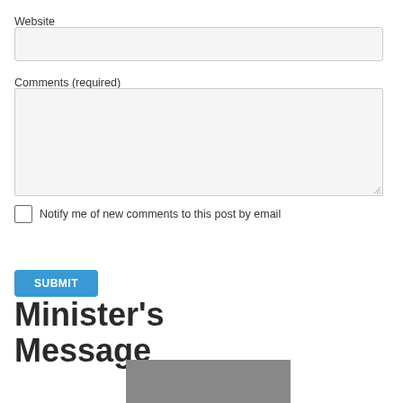Website
Comments (required)
Notify me of new comments to this post by email
SUBMIT
Minister's Message
[Figure (photo): Partial photo of a person, cropped at bottom of page]